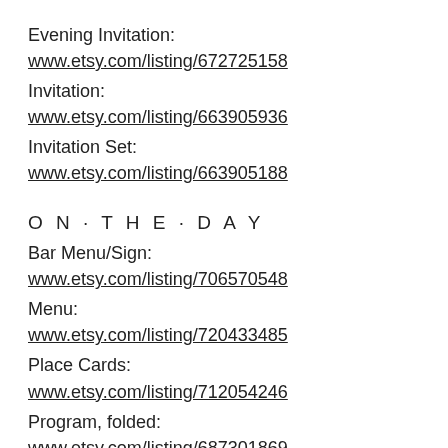Evening Invitation:
www.etsy.com/listing/672725158
Invitation:
www.etsy.com/listing/663905936
Invitation Set:
www.etsy.com/listing/663905188
O N · T H E · D A Y
Bar Menu/Sign:
www.etsy.com/listing/706570548
Menu:
www.etsy.com/listing/720433485
Place Cards:
www.etsy.com/listing/712054246
Program, folded:
www.etsy.com/listing/687301869
Seating cards, to hang or fix:
www.etsy.com/listing/699698969